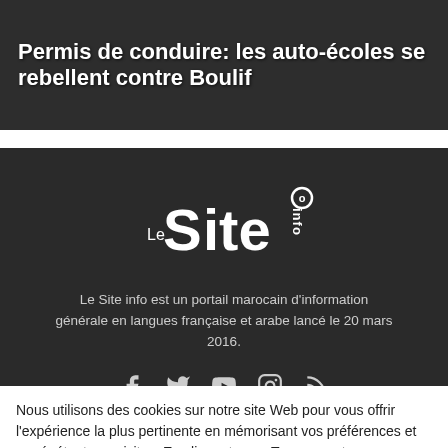[Figure (photo): News article thumbnail with dark overlay showing text about driving licenses and driving schools rebelling against Boulif]
Permis de conduire: les auto-écoles se rebellent contre Boulif
[Figure (logo): Le Site Info logo - white text on dark background showing 'Le Site info' in stylized typography]
Le Site info est un portail marocain d'information générale en langues française et arabe lancé le 20 mars 2016.
[Figure (infographic): Social media icons row: Facebook, Twitter, YouTube, Instagram, RSS feed]
[Figure (infographic): Email/envelope icon]
Nous utilisons des cookies sur notre site Web pour vous offrir l'expérience la plus pertinente en mémorisant vos préférences et en répétant vos visites. En cliquant sur « Tous accepter », vous consentez à l'utilisation de TOUS